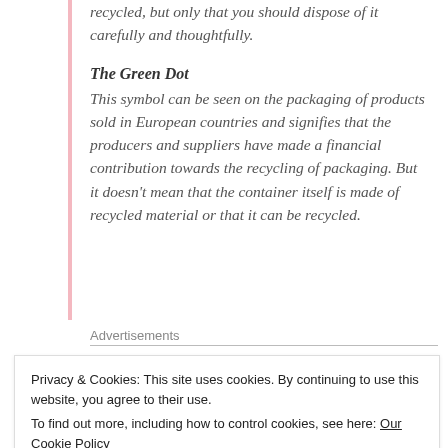recycled, but only that you should dispose of it carefully and thoughtfully.
The Green Dot
This symbol can be seen on the packaging of products sold in European countries and signifies that the producers and suppliers have made a financial contribution towards the recycling of packaging. But it doesn't mean that the container itself is made of recycled material or that it can be recycled.
Advertisements
Privacy & Cookies: This site uses cookies. By continuing to use this website, you agree to their use.
To find out more, including how to control cookies, see here: Our Cookie Policy